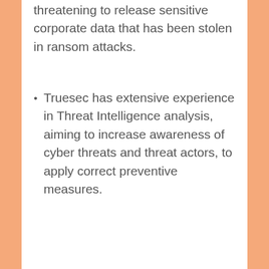threatening to release sensitive corporate data that has been stolen in ransom attacks.
Truesec has extensive experience in Threat Intelligence analysis, aiming to increase awareness of cyber threats and threat actors, to apply correct preventive measures.
Notified's websites use cookies to ensure that we give you the best experience when you visit our websites or use our Services. If you continue without changing your browser settings, you are agreeing to our use of cookies. Find out more by reading our privacy policy.
Ämnen: ENG
Om Truesec
Accept
Reject
Truesec is a highly regarded company that focuses on cybersecurity, IT infrastructure and secure development. Since the start in 2005, the group's